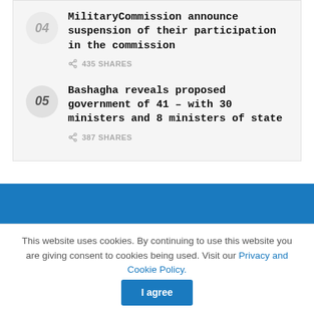Military Commission announce suspension of their participation in the commission — 435 SHARES
05 Bashagha reveals proposed government of 41 – with 30 ministers and 8 ministers of state — 387 SHARES
[Figure (other): Blue banner/advertisement area]
This website uses cookies. By continuing to use this website you are giving consent to cookies being used. Visit our Privacy and Cookie Policy. I agree